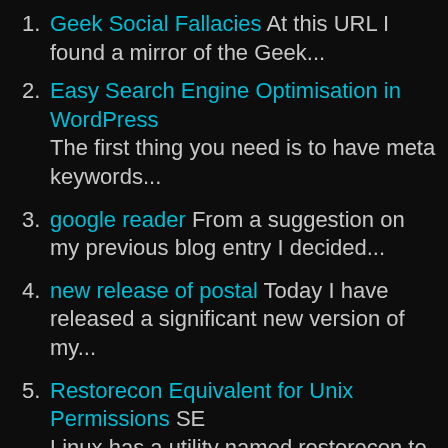1. Geek Social Fallacies At this URL I found a mirror of the Geek...
2. Easy Search Engine Optimisation in WordPress The first thing you need is to have meta keywords...
3. google reader From a suggestion on my previous blog entry I decided...
4. new release of postal Today I have released a significant new version of my...
5. Restorecon Equivalent for Unix Permissions SE Linux has a utility named restorecon to set (or...
Categories: Blogging
Tags: Best Posts, Most Popular